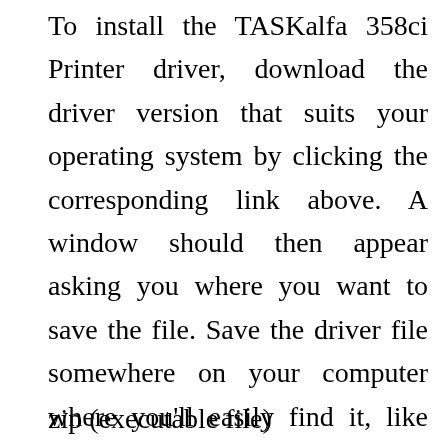To install the TASKalfa 358ci Printer driver, download the driver version that suits your operating system by clicking the corresponding link above. A window should then appear asking you where you want to save the file. Save the driver file somewhere on your computer where you'll easily find it, like your desktop. Then follow the instructions below according to the type of file you downloaded
zip (executable file)